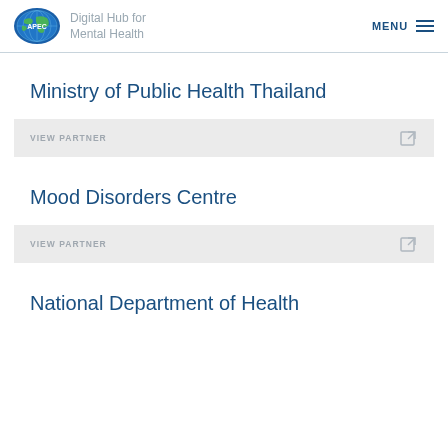Digital Hub for Mental Health
Ministry of Public Health Thailand
VIEW PARTNER
Mood Disorders Centre
VIEW PARTNER
National Department of Health